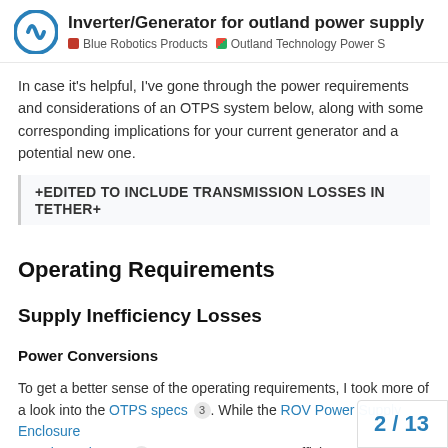Inverter/Generator for outland power supply | Blue Robotics Products | Outland Technology Power S
In case it's helpful, I've gone through the power requirements and considerations of an OTPS system below, along with some corresponding implications for your current generator and a potential new one.
+EDITED TO INCLUDE TRANSMISSION LOSSES IN TETHER+
Operating Requirements
Supply Inefficiency Losses
Power Conversions
To get a better sense of the operating requirements, I took more of a look into the OTPS specs 3 . While the ROV Power Supply Enclosure 2 can output up to 1000 efficiency (of the DC-DC conversion), so u